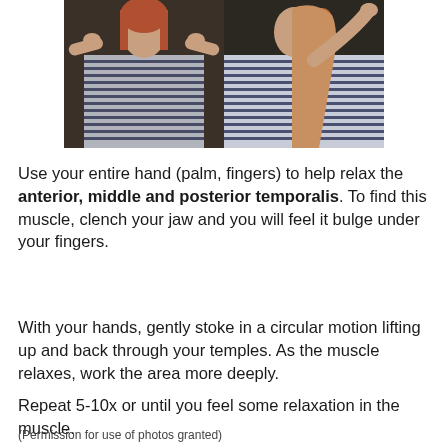[Figure (photo): Two side-by-side photos of a woman in a blue and white striped shirt demonstrating hand placement on temporal region of head for muscle relaxation exercise.]
Use your entire hand (palm, fingers) to help relax the anterior, middle and posterior temporalis. To find this muscle, clench your jaw and you will feel it bulge under your fingers.
With your hands, gently stoke in a circular motion lifting up and back through your temples. As the muscle relaxes, work the area more deeply.
Repeat 5-10x or until you feel some relaxation in the muscle.
(Permission for use of photos granted)